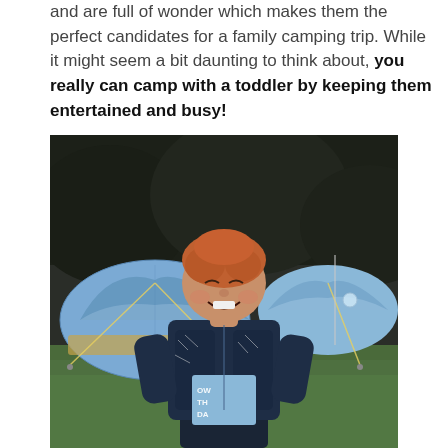and are full of wonder which makes them the perfect candidates for a family camping trip. While it might seem a bit daunting to think about, you really can camp with a toddler by keeping them entertained and busy!
[Figure (photo): A smiling red-haired toddler boy standing in front of blue camping tents on green grass, wearing a dark patterned jacket over a light blue t-shirt.]